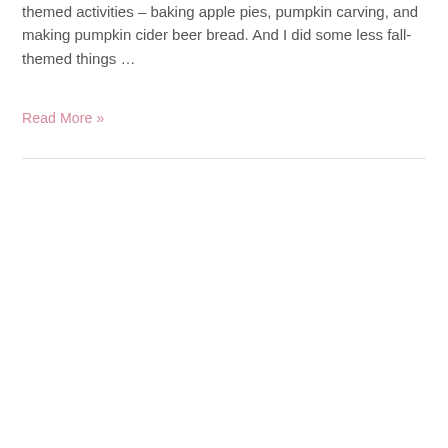themed activities – baking apple pies, pumpkin carving, and making pumpkin cider beer bread. And I did some less fall-themed things ...
Read More »